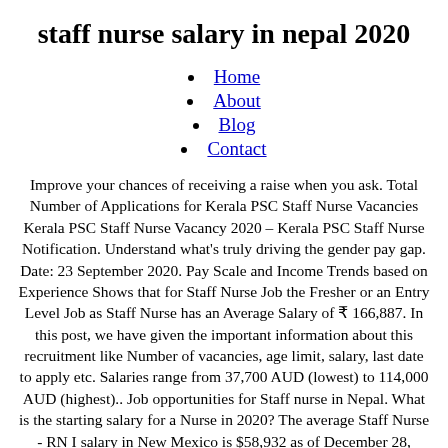staff nurse salary in nepal 2020
Home
About
Blog
Contact
Improve your chances of receiving a raise when you ask. Total Number of Applications for Kerala PSC Staff Nurse Vacancies Kerala PSC Staff Nurse Vacancy 2020 – Kerala PSC Staff Nurse Notification. Understand what's truly driving the gender pay gap. Date: 23 September 2020. Pay Scale and Income Trends based on Experience Shows that for Staff Nurse Job the Fresher or an Entry Level Job as Staff Nurse has an Average Salary of ₹ 166,887. In this post, we have given the important information about this recruitment like Number of vacancies, age limit, salary, last date to apply etc. Salaries range from 37,700 AUD (lowest) to 114,000 AUD (highest).. Job opportunities for Staff nurse in Nepal. What is the starting salary for a Nurse in 2020? The average Staff Nurse - RN I salary in New Mexico is $58,932 as of December 28, 2020, but the range typically falls between $52,881 and $68,059. Salaries range from 50,100 NPR (lowest average) to 150,000 NPR (highest average, actual maximum salary is higher). Candidates must wait